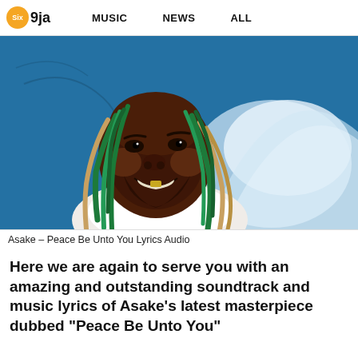Six 9ja  MUSIC  NEWS  ALL
[Figure (illustration): Artistic illustration of a dark-skinned man with long green and blonde dreadlocks, wearing a white top, smiling with gold teeth. Background is a blue painted sky with white wave/cloud shapes.]
Asake – Peace Be Unto You Lyrics Audio
Here we are again to serve you with an amazing and outstanding soundtrack and music lyrics of Asake's latest masterpiece dubbed "Peace Be Unto You"